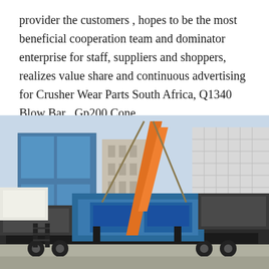provider the customers , hopes to be the most beneficial cooperation team and dominator enterprise for staff, suppliers and shoppers, realizes value share and continuous advertising for Crusher Wear Parts South Africa, Q1340 Blow Bar , Gp200 Cone
[Figure (photo): A large mobile crusher machine on a flatbed trailer in an industrial or urban setting. The machine is blue with an orange crane/arm component visible. Buildings are visible in the background.]